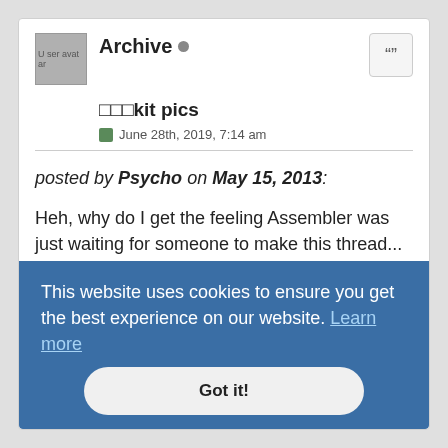[Figure (other): User avatar placeholder image (broken image icon)]
Archive ● (online indicator)
🔧🔧🔧kit pics
June 28th, 2019, 7:14 am
posted by Psycho on May 15, 2013:
Heh, why do I get the feeling Assembler was just waiting for someone to make this thread... :congratulatory:
Here's some internal pics of PSP Dev hardware (from the Assembler archive of the DTB / JIGO Video Testing Tool: (DIP switches were circled per the conversation in the original thread...)
[Figure (other): Broken image placeholder labeled 'Image']
This website uses cookies to ensure you get the best experience on our website. Learn more
Got it!